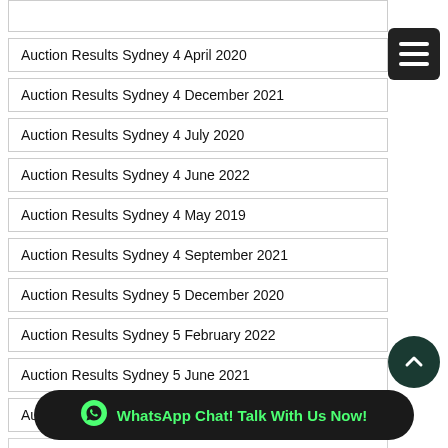Auction Results Sydney 4 April 2020
Auction Results Sydney 4 December 2021
Auction Results Sydney 4 July 2020
Auction Results Sydney 4 June 2022
Auction Results Sydney 4 May 2019
Auction Results Sydney 4 September 2021
Auction Results Sydney 5 December 2020
Auction Results Sydney 5 February 2022
Auction Results Sydney 5 June 2021
Auction Results Sydney 5 March 2022
Auction Results Sydney 5 October 2019 (partial/obscured)
Auction Results Sydney 5 September 2020
WhatsApp Chat! Talk With Us Now!